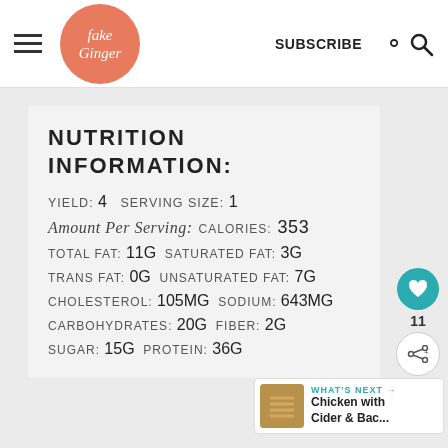fake Ginger | SUBSCRIBE
NUTRITION INFORMATION:
| Field | Value | Field2 | Value2 |
| --- | --- | --- | --- |
| YIELD: | 4 | SERVING SIZE: | 1 |
| Amount Per Serving: |  | CALORIES: | 353 |
| TOTAL FAT: | 11g | SATURATED FAT: | 3g |
| TRANS FAT: | 0g | UNSATURATED FAT: | 7g |
| CHOLESTEROL: | 105mg | SODIUM: | 643mg |
| CARBOHYDRATES: | 20g | FIBER: | 2g |
| SUGAR: | 15g | PROTEIN: | 36g |